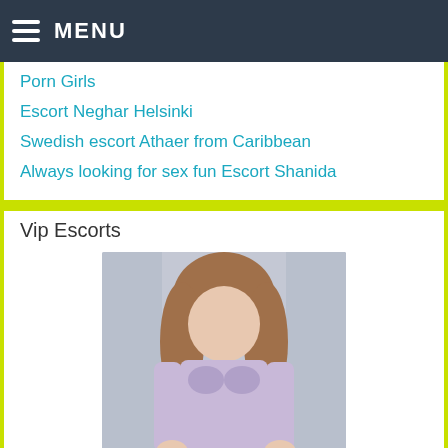MENU
Porn Girls
Escort Neghar Helsinki
Swedish escort Athaer from Caribbean
Always looking for sex fun Escort Shanida
Vip Escorts
[Figure (photo): Woman in lavender lingerie and cardigan posing]
[Figure (photo): Blonde woman partially visible at bottom]